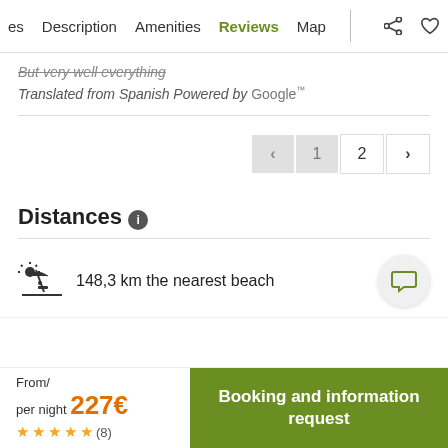es  Description  Amenities  Reviews  Map
But very well everything
Translated from Spanish Powered by Google™
< 1 2 >
Distances ℹ
148,3 km the nearest beach
From/ per night  227€
★★★★★ (8)
Booking and information request